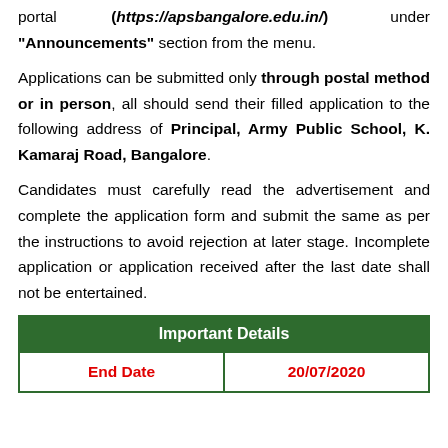portal (https://apsbangalore.edu.in/) under "Announcements" section from the menu.
Applications can be submitted only through postal method or in person, all should send their filled application to the following address of Principal, Army Public School, K. Kamaraj Road, Bangalore.
Candidates must carefully read the advertisement and complete the application form and submit the same as per the instructions to avoid rejection at later stage. Incomplete application or application received after the last date shall not be entertained.
| End Date | 20/07/2020 |
| --- | --- |